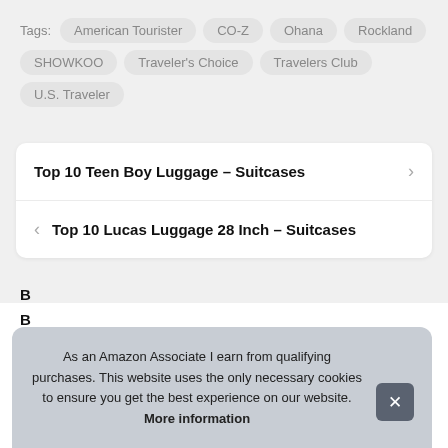Tags: American Tourister  CO-Z  Ohana  Rockland  SHOWKOO  Traveler's Choice  Travelers Club  U.S. Traveler
Top 10 Teen Boy Luggage – Suitcases
Top 10 Lucas Luggage 28 Inch – Suitcases
As an Amazon Associate I earn from qualifying purchases. This website uses the only necessary cookies to ensure you get the best experience on our website. More information